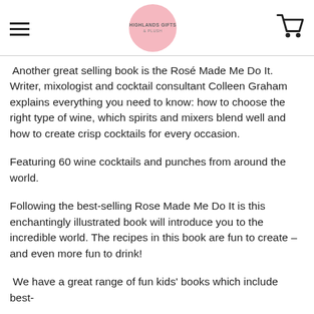HIGHLANDS GIFTS & PLUSH
Another great selling book is the Rosé Made Me Do It. Writer, mixologist and cocktail consultant Colleen Graham explains everything you need to know: how to choose the right type of wine, which spirits and mixers blend well and how to create crisp cocktails for every occasion.
Featuring 60 wine cocktails and punches from around the world.
Following the best-selling Rose Made Me Do It is this enchantingly illustrated book will introduce you to the incredible world. The recipes in this book are fun to create – and even more fun to drink!
We have a great range of fun kids' books which include best-